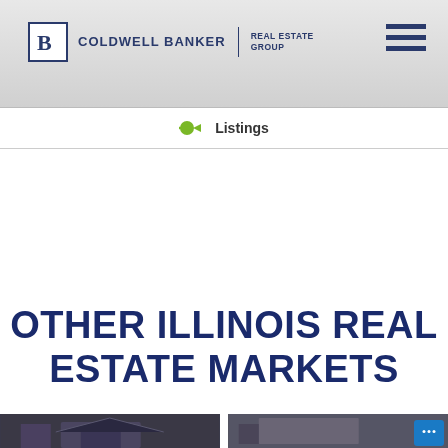COLDWELL BANKER REAL ESTATE GROUP
Listings
OTHER ILLINOIS REAL ESTATE MARKETS
[Figure (photo): Two property photos at bottom of page: left shows exterior of a house at dusk, right shows an interior room view with a chat bubble icon overlay]